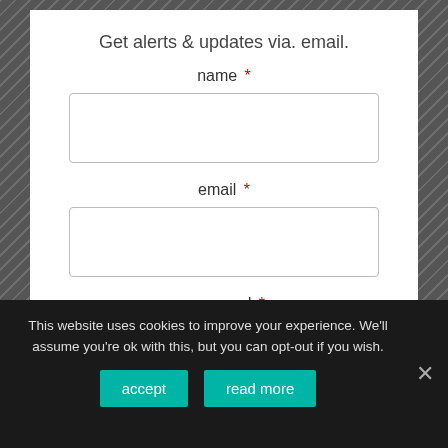Get alerts & updates via. email.
name *
email *
password *
GET UPDATES
This website uses cookies to improve your experience. We'll assume you're ok with this, but you can opt-out if you wish.
accept
read more